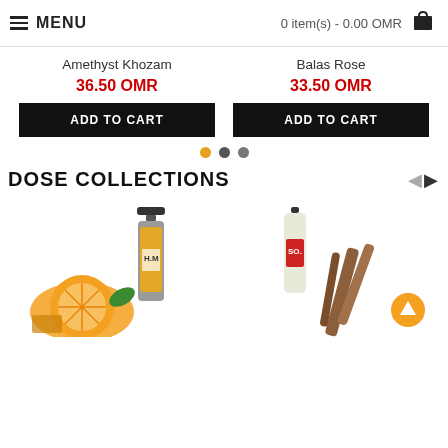MENU | 0 item(s) - 0.00 OMR
Amethyst Khozam
36.50 OMR
ADD TO CART
Balas Rose
33.50 OMR
ADD TO CART
DOSE COLLECTIONS
[Figure (photo): Perfume bottle labeled H.M with orange slices, flowers and honeycomb]
[Figure (photo): Perfume bottle labeled SO with white flowers and cinnamon sticks]